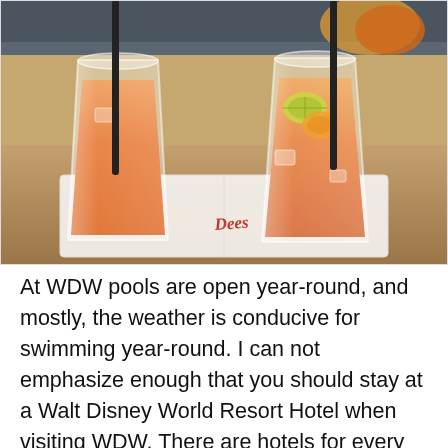[Figure (photo): Two plastic cups filled with pink/orange drinks on white napkins on a counter. The left cup is plain with a black straw, the right cup has fruit garnish and a black straw. A napkin with red cursive text is visible underneath.]
At WDW pools are open year-round, and mostly, the weather is conducive for swimming year-round. I can not emphasize enough that you should stay at a Walt Disney World Resort Hotel when visiting WDW. There are hotels for every budget, and the benefits are abundant. Every resort has at least one pool, usually more. The main pool at every resort that has a nice place to lounge at the pool...